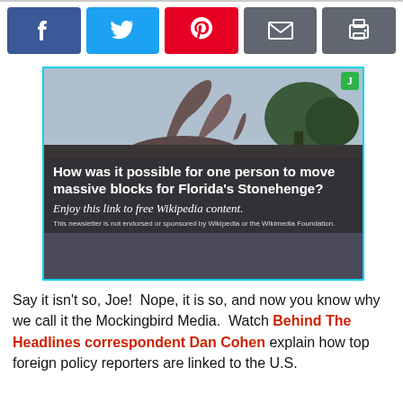[Figure (infographic): Social media share buttons row: Facebook (dark blue), Twitter (light blue), Pinterest (red), Email (dark grey), Print (dark grey)]
[Figure (photo): Advertisement image showing stone dinosaur/monster sculptures at Florida's Coral Castle (Florida's Stonehenge), with overlay text: 'How was it possible for one person to move massive blocks for Florida's Stonehenge? Enjoy this link to free Wikipedia content. This newsletter is not endorsed or sponsored by Wikipedia or the Wikimedia Foundation.' Green J badge in top right corner.]
Say it isn't so, Joe!  Nope, it is so, and now you know why we call it the Mockingbird Media.  Watch Behind The Headlines correspondent Dan Cohen explain how top foreign policy reporters are linked to the U.S.